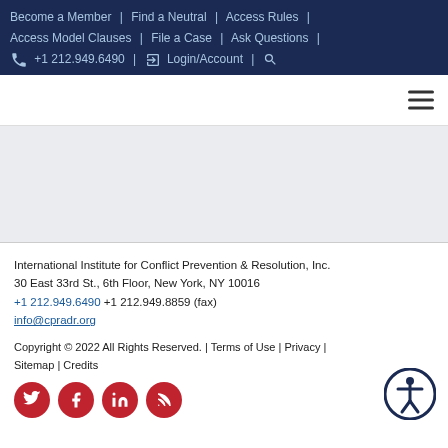Become a Member | Find a Neutral | Access Rules | Access Model Clauses | File a Case | Ask Questions | +1 212.949.6490 | Login/Account |
International Institute for Conflict Prevention & Resolution, Inc.
30 East 33rd St., 6th Floor, New York, NY 10016
+1 212.949.6490 +1 212.949.8859 (fax)
info@cpradr.org
Copyright © 2022 All Rights Reserved. | Terms of Use | Privacy | Sitemap | Credits